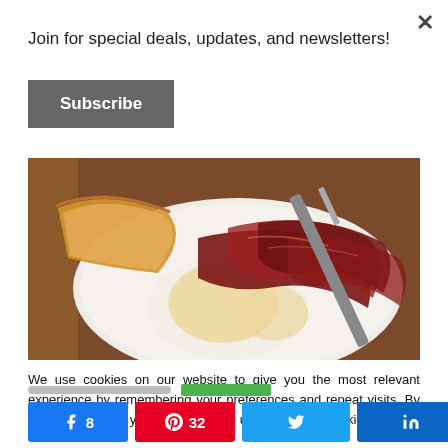Join for special deals, updates, and newsletters!
Subscribe
[Figure (photo): Close-up photo of eggs with cured ham/serrano on a white plate with a knife, viewed from above on a wooden table]
We use cookies on our website to give you the most relevant experience by remembering your preferences and repeat visits. By clicking “Accept”, you consent to the use of ALL the cookies.
Do not sell my personal information.
8
32
40 SHARES